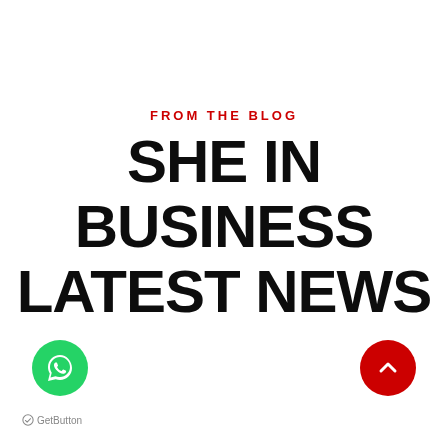FROM THE BLOG
SHE IN BUSINESS LATEST NEWS
[Figure (logo): Green circular WhatsApp button with phone/chat icon]
[Figure (logo): Red circular scroll-to-top button with upward chevron]
GetButton